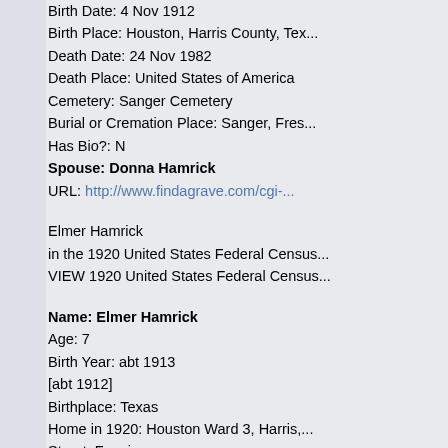Birth Date:   4 Nov 1912
Birth Place:   Houston, Harris County, Tex...
Death Date:   24 Nov 1982
Death Place:   United States of America
Cemetery:   Sanger Cemetery
Burial or Cremation Place:   Sanger, Fres...
Has Bio?:   N
Spouse:   Donna Hamrick
URL:   http://www.findagrave.com/cgi-...
Elmer Hamrick
in the 1920 United States Federal Census...
VIEW 1920 United States Federal Census...
Name: Elmer Hamrick
Age:   7
Birth Year:   abt 1913
[abt 1912]
Birthplace:   Texas
Home in 1920:   Houston Ward 3, Harris,...
Street:   Fannin
Residence Date:   1920
Race:   White
Gender:   Male